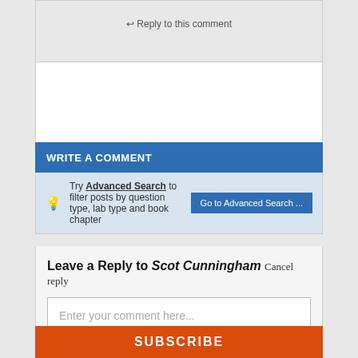↩ Reply to this comment
WRITE A COMMENT
💡 Try Advanced Search to filter posts by question type, lab type and book chapter
Go to Advanced Search ...
Leave a Reply to Scot Cunningham Cancel reply
Enter your comment here...
SUBSCRIBE